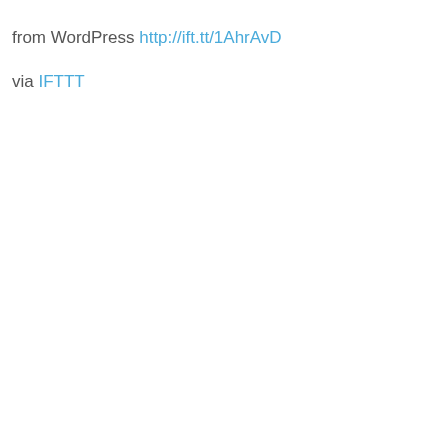from WordPress http://ift.tt/1AhrAvD
via IFTTT